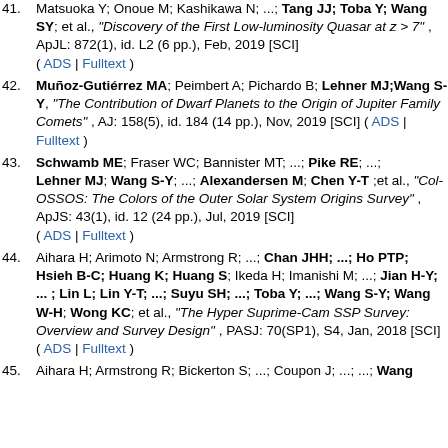Matsuoka Y; Onoue M; Kashikawa N; ...; Tang JJ; Toba Y; Wang SY; et al., "Discovery of the First Low-luminosity Quasar at z > 7" , ApJL: 872(1), id. L2 (6 pp.), Feb, 2019 [SCI] ( ADS | Fulltext )
Muñoz-Gutiérrez MA; Peimbert A; Pichardo B; Lehner MJ;Wang S-Y, "The Contribution of Dwarf Planets to the Origin of Jupiter Family Comets" , AJ: 158(5), id. 184 (14 pp.), Nov, 2019 [SCI] ( ADS | Fulltext )
Schwamb ME; Fraser WC; Bannister MT; ...; Pike RE; ...; Lehner MJ; Wang S-Y; ...; Alexandersen M; Chen Y-T ;et al., "Col-OSSOS: The Colors of the Outer Solar System Origins Survey" , ApJS: 43(1), id. 12 (24 pp.), Jul, 2019 [SCI] ( ADS | Fulltext )
Aihara H; Arimoto N; Armstrong R; ...; Chan JHH; ...; Ho PTP; Hsieh B-C; Huang K; Huang S; Ikeda H; Imanishi M; ...; Jian H-Y; ... ; Lin L; Lin Y-T; ...; Suyu SH; ...; Toba Y; ...; Wang S-Y; Wang W-H; Wong KC; et al., "The Hyper Suprime-Cam SSP Survey: Overview and Survey Design" , PASJ: 70(SP1), S4, Jan, 2018 [SCI] ( ADS | Fulltext )
Aihara H; Armstrong R; Bickerton S; ...; Coupon J; ...; ...; Wang ...